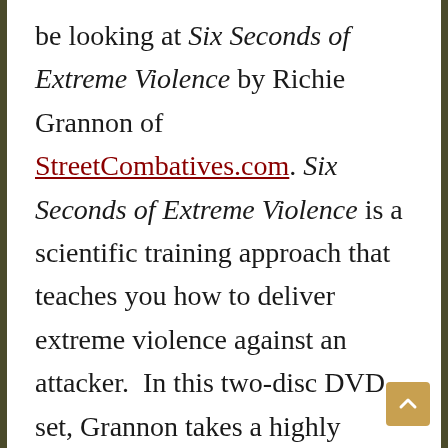be looking at Six Seconds of Extreme Violence by Richie Grannon of StreetCombatives.com. Six Seconds of Extreme Violence is a scientific training approach that teaches you how to deliver extreme violence against an attacker.  In this two-disc DVD set, Grannon takes a highly organized, yet unsophisticated approach to street-level combatives.